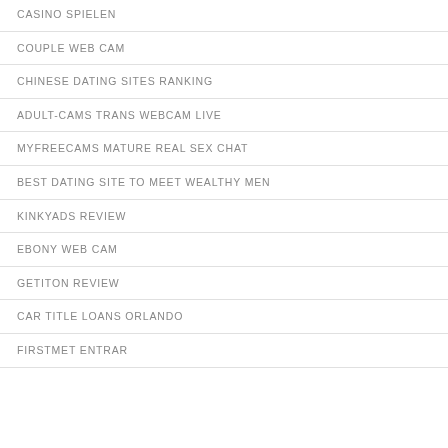CASINO SPIELEN
COUPLE WEB CAM
CHINESE DATING SITES RANKING
ADULT-CAMS TRANS WEBCAM LIVE
MYFREECAMS MATURE REAL SEX CHAT
BEST DATING SITE TO MEET WEALTHY MEN
KINKYADS REVIEW
EBONY WEB CAM
GETITON REVIEW
CAR TITLE LOANS ORLANDO
FIRSTMET ENTRAR